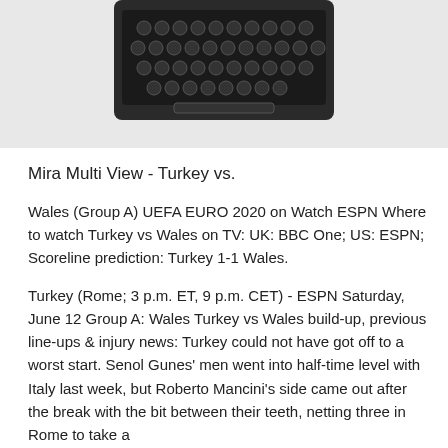[Figure (photo): A top-down view of a vintage typewriter keyboard against a light gray background, showing rows of round keys.]
Mira Multi View - Turkey vs.
Wales (Group A) UEFA EURO 2020 on Watch ESPN Where to watch Turkey vs Wales on TV: UK: BBC One; US: ESPN; Scoreline prediction: Turkey 1-1 Wales.
Turkey (Rome; 3 p.m. ET, 9 p.m. CET) - ESPN Saturday, June 12 Group A: Wales Turkey vs Wales build-up, previous line-ups & injury news: Turkey could not have got off to a worst start. Senol Gunes' men went into half-time level with Italy last week, but Roberto Mancini's side came out after the break with the bit between their teeth, netting three in Rome to take a